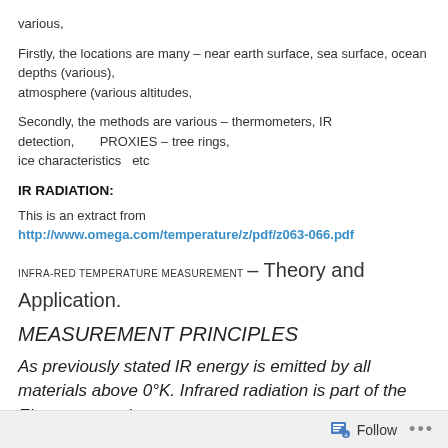various,
Firstly, the locations are many – near earth surface, sea surface, ocean depths (various), atmosphere (various altitudes,
Secondly, the methods are various – thermometers, IR detection,       PROXIES – tree rings, ice characteristics   etc
IR RADIATION:
This is an extract from http://www.omega.com/temperature/z/pdf/z063-066.pdf
INFRA-RED TEMPERATURE MEASUREMENT – Theory and Application.
MEASUREMENT PRINCIPLES
As previously stated IR energy is emitted by all materials above 0°K. Infrared radiation is part of the Electromagnetic
Follow ...